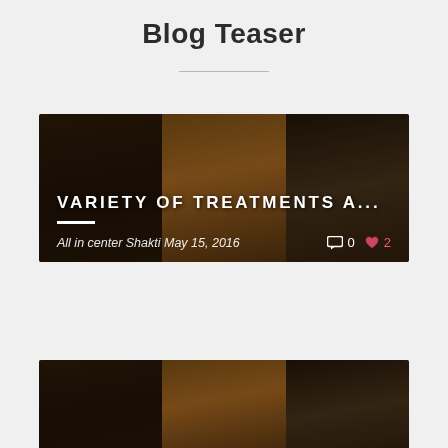Blog Teaser
[Figure (photo): Blog teaser card showing interior spa/wellness room photos in three panels with overlay text 'VARIETY OF TREATMENTS A...' and meta info 'All in center Shakti May 15, 2016' with comment count 0 and like count 2]
[Figure (photo): Second blog teaser card showing the same interior spa/wellness room photos, partially visible at bottom of page]